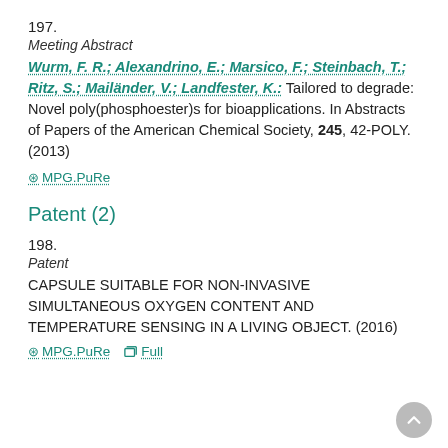197.
Meeting Abstract
Wurm, F. R.; Alexandrino, E.; Marsico, F.; Steinbach, T.; Ritz, S.; Mailänder, V.; Landfester, K.: Tailored to degrade: Novel poly(phosphoester)s for bioapplications. In Abstracts of Papers of the American Chemical Society, 245, 42-POLY. (2013)
⊙ MPG.PuRe
Patent (2)
198.
Patent
CAPSULE SUITABLE FOR NON-INVASIVE SIMULTANEOUS OXYGEN CONTENT AND TEMPERATURE SENSING IN A LIVING OBJECT. (2016)
⊙ MPG.PuRe  □ Full